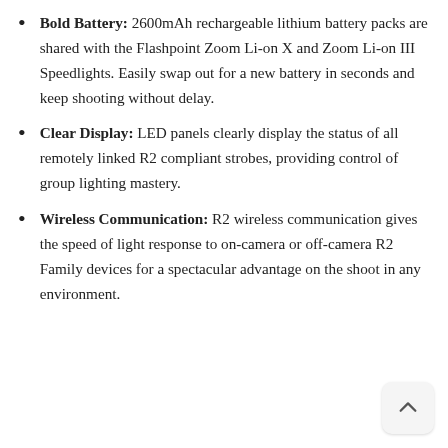Bold Battery: 2600mAh rechargeable lithium battery packs are shared with the Flashpoint Zoom Li-on X and Zoom Li-on III Speedlights. Easily swap out for a new battery in seconds and keep shooting without delay.
Clear Display: LED panels clearly display the status of all remotely linked R2 compliant strobes, providing control of group lighting mastery.
Wireless Communication: R2 wireless communication gives the speed of light response to on-camera or off-camera R2 Family devices for a spectacular advantage on the shoot in any environment.